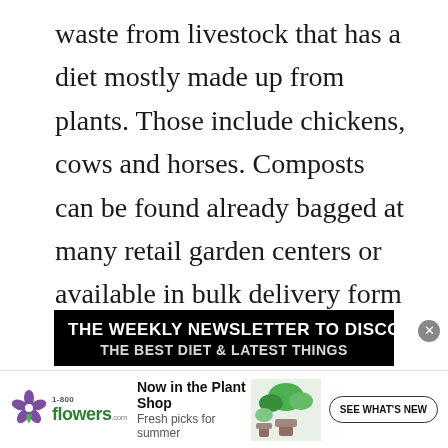waste from livestock that has a diet mostly made up from plants. Those include chickens, cows and horses. Composts can be found already bagged at many retail garden centers or available in bulk delivery form from local sources.
[Figure (other): Black banner advertisement: 'THE WEEKLY NEWSLETTER TO DISCOVER' with partially visible second line below]
[Figure (other): 1-800-flowers.com advertisement banner at bottom: logo with flower icon, 'Now in the Plant Shop / Fresh picks for summer', plant photo, and 'SEE WHAT'S NEW' button]